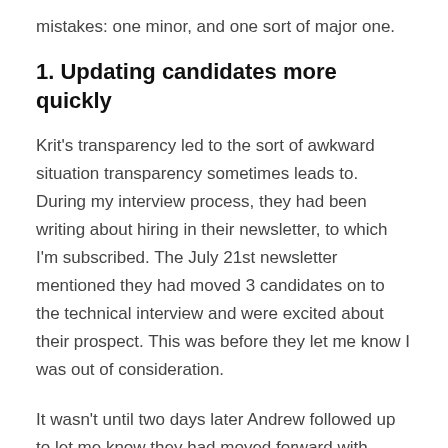mistakes: one minor, and one sort of major one.
1. Updating candidates more quickly
Krit's transparency led to the sort of awkward situation transparency sometimes leads to. During my interview process, they had been writing about hiring in their newsletter, to which I'm subscribed. The July 21st newsletter mentioned they had moved 3 candidates on to the technical interview and were excited about their prospect. This was before they let me know I was out of consideration.
It wasn't until two days later Andrew followed up to let me know they had moved forward with another